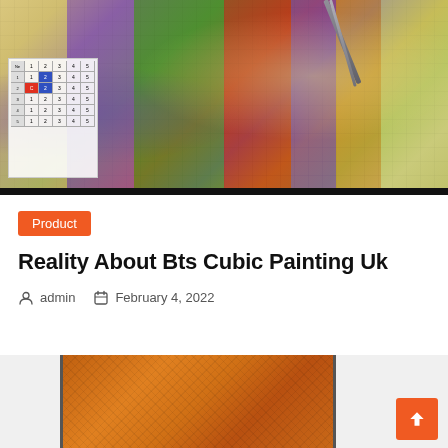[Figure (photo): Close-up photo of a diamond painting/cubic painting kit with colorful gem beads arranged in a grid pattern, with tweezers being used to place a diamond. A color reference chart is visible in the lower left corner.]
Product
Reality About Bts Cubic Painting Uk
admin   February 4, 2022
[Figure (photo): Close-up photo of an orange/copper colored textured surface, possibly a canvas or painting material, shown in a device frame.]